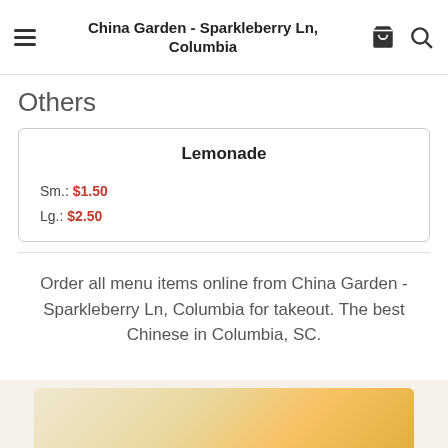China Garden - Sparkleberry Ln, Columbia
Others
| Lemonade | Sm.: $1.50 | Lg.: $2.50 |
Order all menu items online from China Garden - Sparkleberry Ln, Columbia for takeout. The best Chinese in Columbia, SC.
[Figure (photo): Partial photo of food item visible at bottom of page]